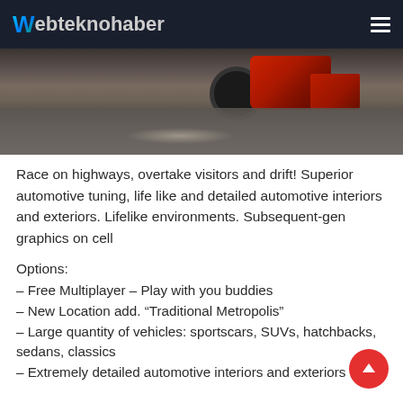Webteknohaber
[Figure (photo): Rear view of a red sports car on wet pavement, close-up showing rear body, exhaust and wheel]
Race on highways, overtake visitors and drift! Superior automotive tuning, life like and detailed automotive interiors and exteriors. Lifelike environments. Subsequent-gen graphics on cell
Options:
– Free Multiplayer – Play with you buddies
– New Location add. “Traditional Metropolis”
– Large quantity of vehicles: sportscars, SUVs, hatchbacks, sedans, classics
– Extremely detailed automotive interiors and exteriors